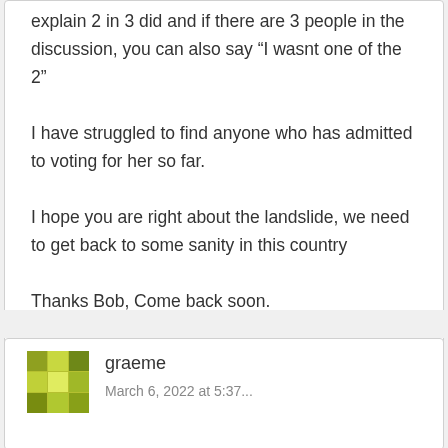explain 2 in 3 did and if there are 3 people in the discussion, you can also say "I wasnt one of the 2"
I have struggled to find anyone who has admitted to voting for her so far.
I hope you are right about the landslide, we need to get back to some sanity in this country
Thanks Bob, Come back soon.
Loading...
Reply
graeme